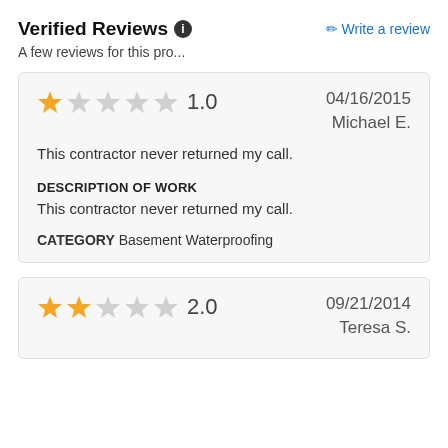Verified Reviews ℹ
Write a review
A few reviews for this pro...
1.0  04/16/2015  Michael E.
This contractor never returned my call.
DESCRIPTION OF WORK
This contractor never returned my call.
CATEGORY Basement Waterproofing
2.0  09/21/2014  Teresa S.